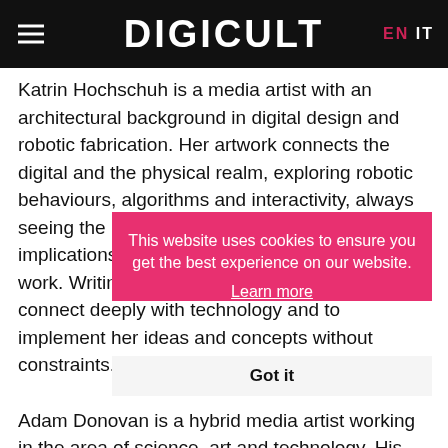DIGICULT  EN  IT
Katrin Hochschuh is a media artist with an architectural background in digital design and robotic fabrication. Her artwork connects the digital and the physical realm, exploring robotic behaviours, algorithms and interactivity, always seeing the human, his perception and social implications of technology at the center of her work. Writing her own software allows her to connect deeply with technology and to implement her ideas and concepts without constraints.
This website uses cookies to ensure you get the best experience on our website. Learn more
Got it
Adam Donovan is a hybrid media artist working in the area of science, art and technology. His artwork incorporates nonlinear acoustics, robotic sculpture, game engine environments and camera tracking